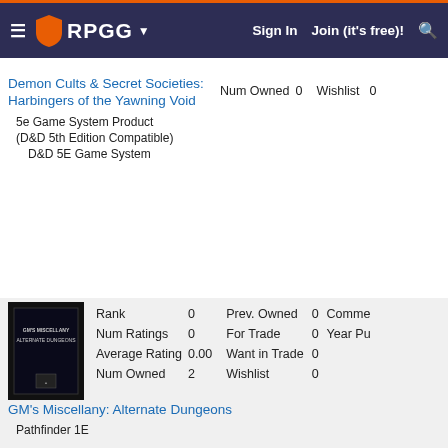RPGG — Sign In  Join (it's free)!
Demon Cults & Secret Societies: Harbingers of the Yawning Void
| Stat | Value | Stat | Value |
| --- | --- | --- | --- |
| Num Owned | 0 | Wishlist | 0 |
5e Game System Product (D&D 5th Edition Compatible)
D&D 5E Game System
[Figure (photo): Book cover thumbnail for GM's Miscellany: Alternate Dungeons — dark cover with small text]
GM's Miscellany: Alternate Dungeons
| Stat | Value | Stat | Value | Extra |
| --- | --- | --- | --- | --- |
| Rank | 0 | Prev. Owned | 0 | Comme... |
| Num Ratings | 0 | For Trade | 0 | Year Pu... |
| Average Rating | 0.00 | Want in Trade | 0 |  |
| Num Owned | 2 | Wishlist | 0 |  |
Pathfinder 1E